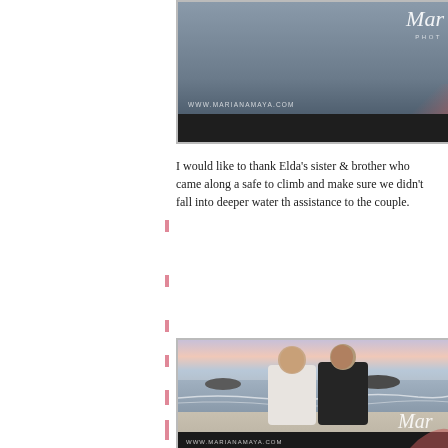[Figure (photo): Partial view of a photography watermark banner with dark background, showing www.marianamaya.com watermark and partial cursive 'Mar' logo with 'PHOT' text]
I would like to thank Elda's sister & brother who came along a safe to climb and make sure we didn't fall into deeper water th assistance to the couple.
[Figure (photo): Two women smiling and hugging on a beach at sunset/dusk. One wears white jacket, the other wears black. Beach and ocean waves visible in background with pink/purple sunset sky. Mariana Maya Photography watermark visible.]